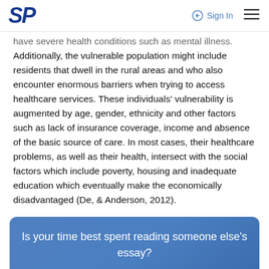SP | Sign In
have severe health conditions such as mental illness. Additionally, the vulnerable population might include residents that dwell in the rural areas and who also encounter enormous barriers when trying to access healthcare services. These individuals' vulnerability is augmented by age, gender, ethnicity and other factors such as lack of insurance coverage, income and absence of the basic source of care. In most cases, their healthcare problems, as well as their health, intersect with the social factors which include poverty, housing and inadequate education which eventually make the economically disadvantaged (De, & Anderson, 2012).
Is your time best spent reading someone else's essay?
GET A 100% ORIGINAL ESSAY FROM A